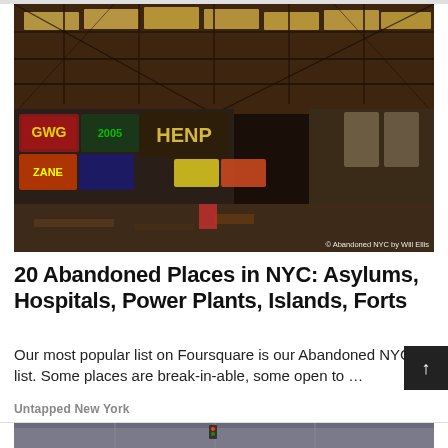[Figure (photo): Interior of a large abandoned industrial building with high arched ceiling, exposed metal trusses, graffiti-covered walls, and debris-strewn floor. Photo credit: © Abandoned NYC by Will Ellis]
20 Abandoned Places in NYC: Asylums, Hospitals, Power Plants, Islands, Forts
Our most popular list on Foursquare is our Abandoned NYC list. Some places are break-in-able, some open to …
Untapped New York
[Figure (photo): Partial view of a street scene in NYC, partially cropped at the bottom of the page]